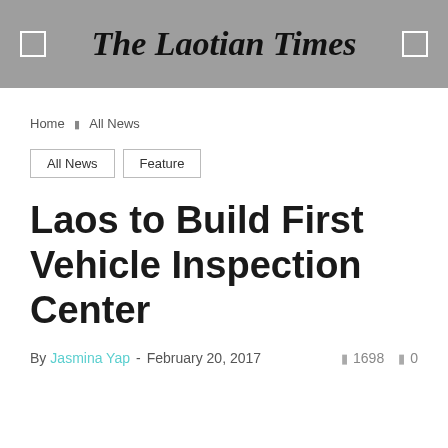The Laotian Times
Home / All News
All News
Feature
Laos to Build First Vehicle Inspection Center
By Jasmina Yap - February 20, 2017  1698  0